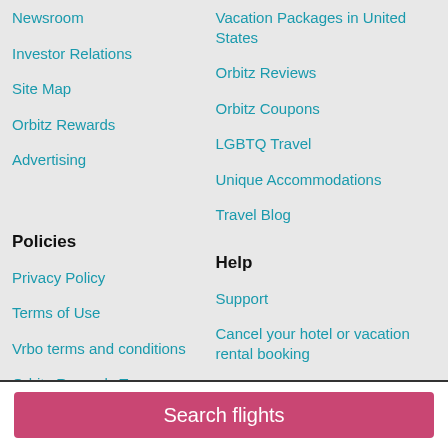Newsroom
Vacation Packages in United States
Investor Relations
Orbitz Reviews
Site Map
Orbitz Coupons
Orbitz Rewards
LGBTQ Travel
Advertising
Unique Accommodations
Travel Blog
Policies
Help
Privacy Policy
Support
Terms of Use
Cancel your hotel or vacation rental booking
Vrbo terms and conditions
Cancel your flight
Orbitz Rewards Terms
Refund timelines, policies & processes
Do not sell my personal information
Search flights